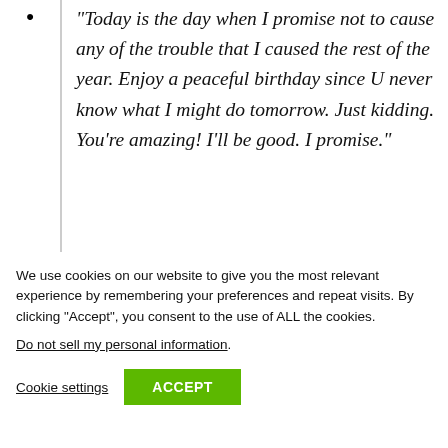“Today is the day when I promise not to cause any of the trouble that I caused the rest of the year. Enjoy a peaceful birthday since U never know what I might do tomorrow. Just kidding. You’re amazing! I’ll be good. I promise.”
We use cookies on our website to give you the most relevant experience by remembering your preferences and repeat visits. By clicking “Accept”, you consent to the use of ALL the cookies.
Do not sell my personal information.
Cookie settings   ACCEPT